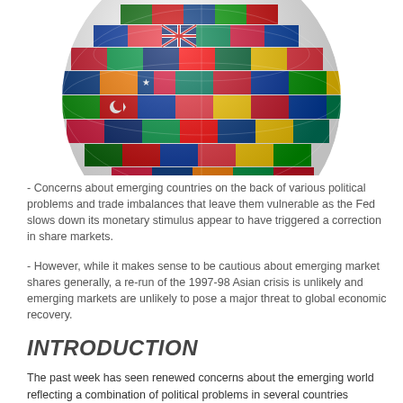[Figure (illustration): A globe made up of colorful international flags arranged as a sphere, partially visible from the top portion of the page.]
- Concerns about emerging countries on the back of various political problems and trade imbalances that leave them vulnerable as the Fed slows down its monetary stimulus appear to have triggered a correction in share markets.
- However, while it makes sense to be cautious about emerging market shares generally, a re-run of the 1997-98 Asian crisis is unlikely and emerging markets are unlikely to pose a major threat to global economic recovery.
INTRODUCTION
The past week has seen renewed concerns about the emerging world reflecting a combination of political problems in several countries including Turkey and the Ukraine, a currency devaluation in Argentina and ongoing concerns about